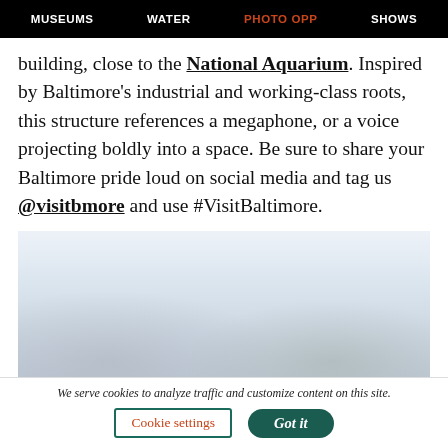MUSEUMS   WATER   PHOTO OPP   SHOWS
building, close to the National Aquarium. Inspired by Baltimore's industrial and working-class roots, this structure references a megaphone, or a voice projecting boldly into a space. Be sure to share your Baltimore pride loud on social media and tag us @visitbmore and use #VisitBaltimore.
[Figure (photo): Outdoor photo showing a light hazy sky with faint silhouettes of structures or trees in the background, very washed out/overexposed]
We serve cookies to analyze traffic and customize content on this site.
Cookie settings   Got it